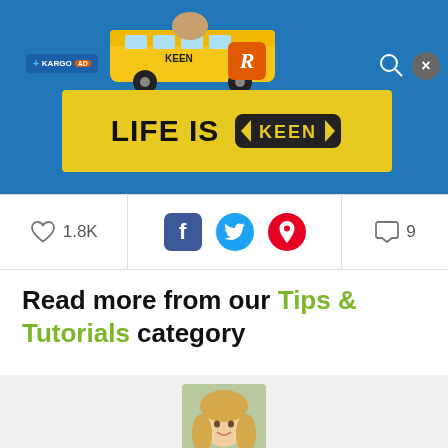[Figure (screenshot): Blue website header with KARGO badge on left, decorative bus illustration in center, orange 'R' icon, search and close buttons on right]
[Figure (screenshot): Yellow KEEN advertisement banner reading 'LIFE IS' with KEEN logo]
[Figure (screenshot): Social sharing bar with heart/like count 1.8K, Facebook, Twitter, Pinterest icons, and comment count 9]
Read more from our Tips & Tutorials category
[Figure (photo): Portrait photo of Meredith Clark, a smiling woman with long blonde hair, outdoors]
Meredith Clark
is a wife, mother, native Oregonian, complete bookworm, Top Chef lover, and